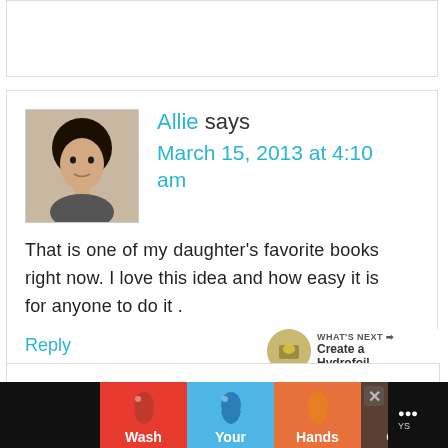[Figure (photo): Top portion of a comment box, mostly empty white area with border]
[Figure (photo): Avatar photo of a dark-haired woman named Allie]
Allie says
March 15, 2013 at 4:10 am
That is one of my daughter's favorite books right now. I love this idea and how easy it is for anyone to do it .
Reply
[Figure (infographic): Like (heart) button with count 15, and share button]
[Figure (infographic): WHAT'S NEXT arrow with thumbnail and text: Create a Hydrofoil]
[Figure (infographic): Ad bar: Wash Your Hands Often hand-washing campaign with close button and logo]